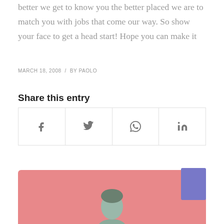better we get to know you the better placed we are to match you with jobs that come our way. So show your face to get a head start! Hope you can make it
MARCH 18, 2008 / BY PAOLO
Share this entry
[Figure (infographic): Social share buttons: Facebook (f), Twitter (bird), WhatsApp (phone), LinkedIn (in)]
[Figure (photo): Pink background with a person's head visible at the bottom center, and a purple/violet square overlay on the right side]